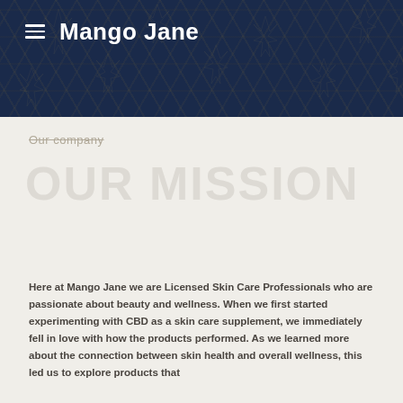Mango Jane
Our Mission
Our company
Here at Mango Jane we are Licensed Skin Care Professionals who are passionate about beauty and wellness. When we first started experimenting with CBD as a skin care supplement, we immediately fell in love with how the products performed. As we learned more about the connection between skin health and overall wellness, this led us to explore products that